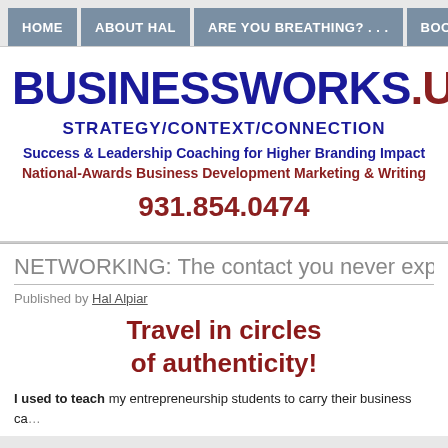Home | About Hal | Are You Breathing?... | Books | D
BUSINESSWORKS.US
STRATEGY/CONTEXT/CONNECTION
Success & Leadership Coaching for Higher Branding Impact
National-Awards Business Development Marketing & Writing
931.854.0474
NETWORKING: The contact you never expected
Published by Hal Alpiar
Travel in circles of authenticity!
I used to teach my entrepreneurship students to carry their business ca...